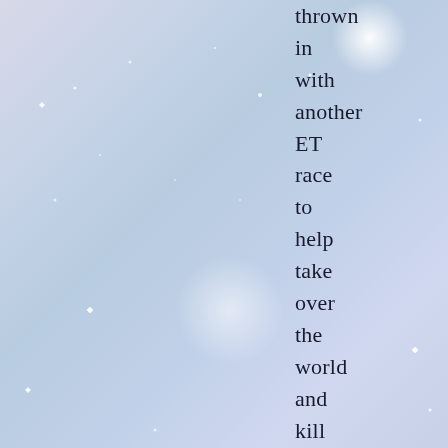[Figure (illustration): Starry sky background with soft blue, lavender and white tones, featuring bright sparkle/glare points of light scattered across the image.]
thrown in with another ET race to help take over the world and kill Billy. Billy and others saw the large eyed